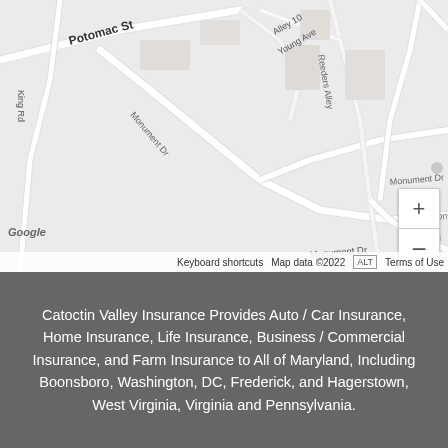[Figure (map): Google Maps screenshot showing Boonsboro, Maryland area with streets including Potomac St, Monument Dr, Mousetown Rd, King Rd, Alley 10, Young Ave, Reeders Alley. Map data ©2022. Zoom controls visible on right side. Google logo in bottom-left.]
Catoctin Valley Insurance Provides Auto / Car Insurance, Home Insurance, Life Insurance, Business / Commercial Insurance, and Farm Insurance to All of Maryland, Including Boonsboro, Washington, DC, Frederick, and Hagerstown, West Virginia, Virginia and Pennsylvania.